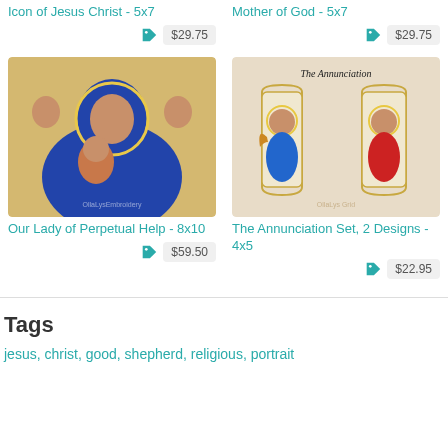Icon of Jesus Christ - 5x7
$29.75
Mother of God - 5x7
$29.75
[Figure (photo): Embroidered icon of Our Lady of Perpetual Help, showing the Virgin Mary in blue robe holding the Christ child, with angels on either side, gold background]
Our Lady of Perpetual Help - 8x10
$59.50
[Figure (photo): Embroidered icon of The Annunciation showing two figures: the Angel Gabriel and the Virgin Mary, both with halos, set in arched frames on a cream linen background]
The Annunciation Set, 2 Designs - 4x5
$22.95
Tags
jesus, christ, good, shepherd, religious, portrait